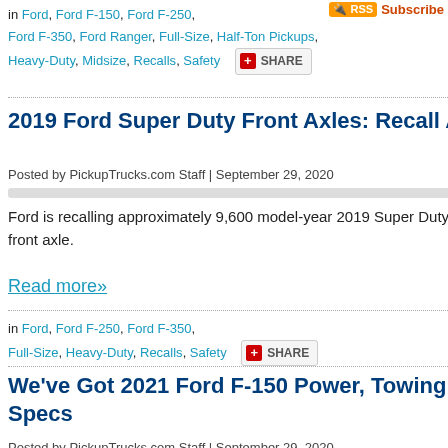in Ford, Ford F-150, Ford F-250, Ford F-350, Ford Ranger, Full-Size, Half-Ton Pickups, Heavy-Duty, Midsize, Recalls, Safety
2019 Ford Super Duty Front Axles: Recall Alert
Posted by PickupTrucks.com Staff | September 29, 2020
Ford is recalling approximately 9,600 model-year 2019 Super Duty pickup trucks for an issue with the front axle.
Read more»
in Ford, Ford F-250, Ford F-350, Full-Size, Heavy-Duty, Recalls, Safety
We've Got 2021 Ford F-150 Power, Towing and Payload Specs
Posted by PickupTrucks.com Staff | September 29, 2020
[Figure (photo): Green outdoor/nature photo at the bottom of the page]